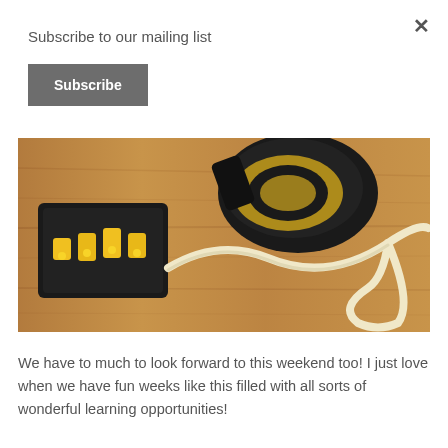Subscribe to our mailing list
Subscribe
[Figure (photo): Photo of a yellow and black power tool (sander/orbital sander) with a cord or strap on a wooden floor surface, alongside a black and yellow accessory case.]
We have to much to look forward to this weekend too!  I just love when we have fun weeks like this filled with all sorts of wonderful learning opportunities!